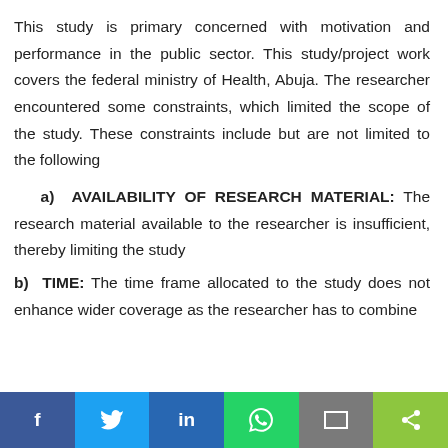This study is primary concerned with motivation and performance in the public sector. This study/project work covers the federal ministry of Health, Abuja. The researcher encountered some constraints, which limited the scope of the study. These constraints include but are not limited to the following
a) AVAILABILITY OF RESEARCH MATERIAL: The research material available to the researcher is insufficient, thereby limiting the study
b) TIME: The time frame allocated to the study does not enhance wider coverage as the researcher has to combine